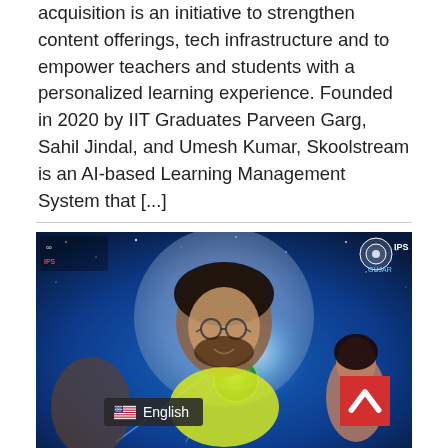acquisition is an initiative to strengthen content offerings, tech infrastructure and to empower teachers and students with a personalized learning experience. Founded in 2020 by IIT Graduates Parveen Garg, Sahil Jindal, and Umesh Kumar, Skoolstream is an AI-based Learning Management System that [...]
[Figure (photo): Movie or event promotional poster with a young man wearing glasses in front of a glowing green planet and blue starry background, with logos visible in corners. Language selector badge showing English flag and text, and a red scroll-to-top button visible.]